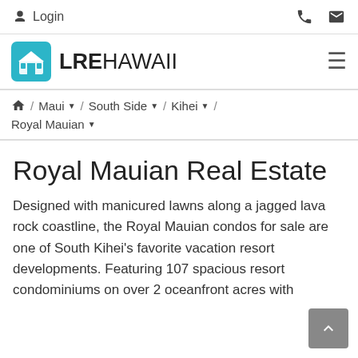Login  [phone icon]  [mail icon]
[Figure (logo): LRE Hawaii logo with teal house icon and bold text LREHawaii, with hamburger menu icon on the right]
🏠 / Maui ▼/ South Side ▼/ Kihei ▼/ Royal Mauian ▼
Royal Mauian Real Estate
Designed with manicured lawns along a jagged lava rock coastline, the Royal Mauian condos for sale are one of South Kihei's favorite vacation resort developments. Featuring 107 spacious resort condominiums on over 2 oceanfront acres with